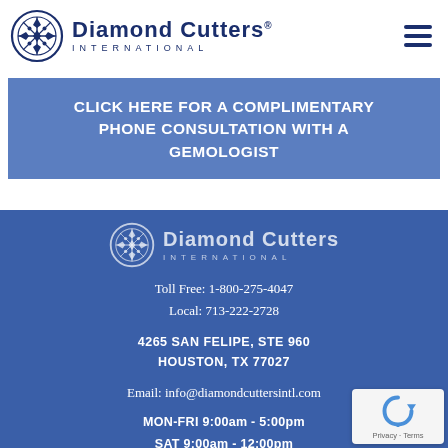[Figure (logo): Diamond Cutters International logo: circular medallion emblem in dark navy blue with the company name 'Diamond Cutters' in bold dark blue and 'INTERNATIONAL' in spaced uppercase letters]
CLICK HERE FOR A COMPLIMENTARY PHONE CONSULTATION WITH A GEMOLOGIST
[Figure (logo): Diamond Cutters International white logo on blue background footer: circular medallion and 'INTERNATIONAL' text]
Toll Free: 1-800-275-4047
Local: 713-222-2728
4265 SAN FELIPE, STE 960
HOUSTON, TX 77027
Email: info@diamondcuttersintl.com
MON-FRI 9:00am - 5:00pm
SAT 9:00am - 12:00pm